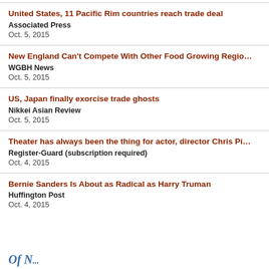United States, 11 Pacific Rim countries reach trade deal
Associated Press
Oct. 5, 2015
New England Can't Compete With Other Food Growing Regio…
WGBH News
Oct. 5, 2015
US, Japan finally exorcise trade ghosts
Nikkei Asian Review
Oct. 5, 2015
Theater has always been the thing for actor, director Chris Pi…
Register-Guard (subscription required)
Oct. 4, 2015
Bernie Sanders Is About as Radical as Harry Truman
Huffington Post
Oct. 4, 2015